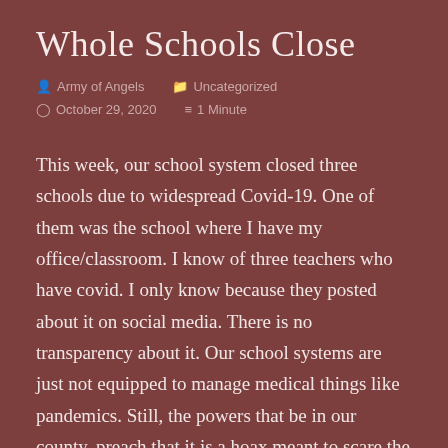Whole Schools Close
Army of Angels   Uncategorized   October 29, 2020   1 Minute
This week, our school system closed three schools due to widespread Covid-19. One of them was the school where I have my office/classroom. I know of three teachers who have covid. I only know because they posted about it on social media. There is no transparency about it. Our school systems are just not equipped to manage medical things like pandemics. Still, the powers that be in our county, preach that it is a hoax meant to scare the weak into submission. Our county is now one of very few...